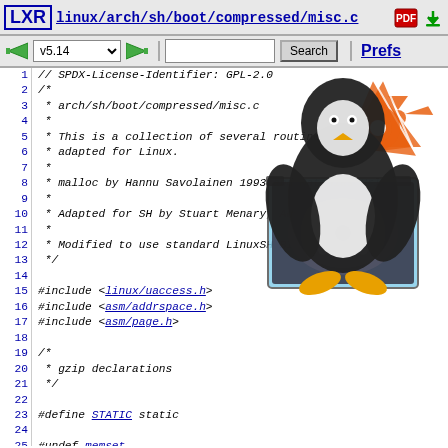LXR | linux/arch/sh/boot/compressed/misc.c
[Figure (screenshot): Navigation bar with back arrow, version selector v5.14, forward arrow, search box, Search button, and Prefs link]
[Figure (illustration): Tux the Linux penguin mascot holding an X-ray image, with a radioactive symbol in the background]
1  // SPDX-License-Identifier: GPL-2.0
2  /*
3   * arch/sh/boot/compressed/misc.c
4   *
5   * This is a collection of several routines from gz
6   * adapted for Linux.
7   *
8   * malloc by Hannu Savolainen 1993 and Matthias Url.
9   *
10  * Adapted for SH by Stuart Menary, Aug 1999
11  *
12  * Modified to use standard LinuxSH BIOS by Greg Ba.
13  */
14
15 #include <linux/uaccess.h>
16 #include <asm/addrspace.h>
17 #include <asm/page.h>
18
19 /*
20  * gzip declarations
21  */
22
23 #define STATIC static
24
25 #undef memset